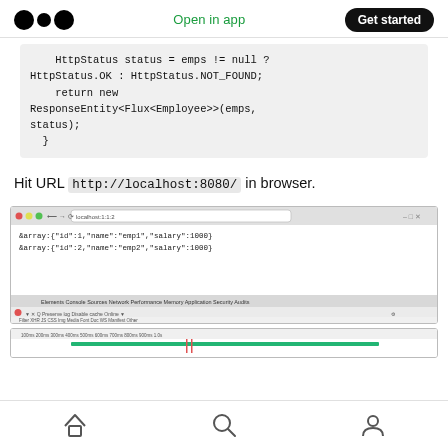Open in app | Get started
HttpStatus status = emps != null ?
HttpStatus.OK : HttpStatus.NOT_FOUND;
    return new
ResponseEntity<Flux<Employee>>(emps,
status);
  }
Hit URL http://localhost:8080/ in browser.
[Figure (screenshot): Browser screenshot showing localhost:8080/ with JSON employee data and Chrome DevTools Network panel open]
Home, Search, Profile navigation icons